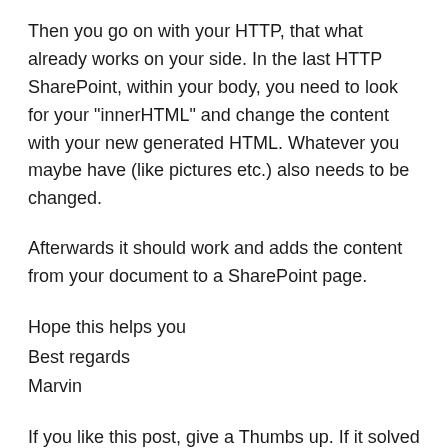Then you go on with your HTTP, that what already works on your side. In the last HTTP SharePoint, within your body, you need to look for your "innerHTML" and change the content with your new generated HTML. Whatever you maybe have (like pictures etc.) also needs to be changed.
Afterwards it should work and adds the content from your document to a SharePoint page.
Hope this helps you
Best regards
Marvin
If you like this post, give a Thumbs up. If it solved your request, Mark it as a Solution to enable other users to find it.